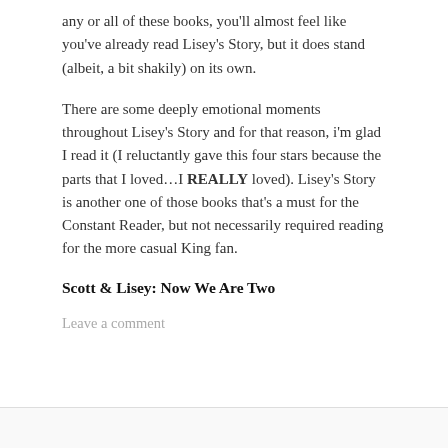any or all of these books, you'll almost feel like you've already read Lisey's Story, but it does stand (albeit, a bit shakily) on its own.
There are some deeply emotional moments throughout Lisey's Story and for that reason, i'm glad I read it (I reluctantly gave this four stars because the parts that I loved...I REALLY loved). Lisey's Story is another one of those books that's a must for the Constant Reader, but not necessarily required reading for the more casual King fan.
Scott & Lisey: Now We Are Two
Leave a comment